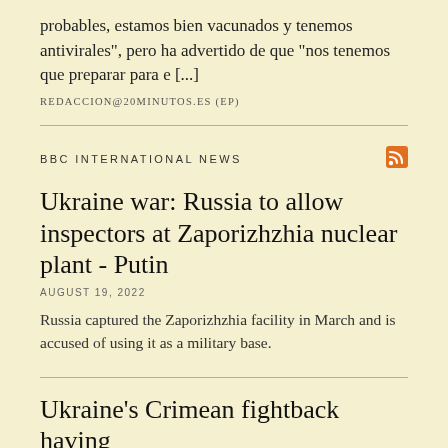probables, estamos bien vacunados y tenemos antivirales", pero ha advertido de que "nos tenemos que preparar para e [...]
REDACCION@20MINUTOS.ES (EP)
BBC INTERNATIONAL NEWS
Ukraine war: Russia to allow inspectors at Zaporizhzhia nuclear plant - Putin
AUGUST 19, 2022
Russia captured the Zaporizhzhia facility in March and is accused of using it as a military base.
Ukraine's Crimean fightback having